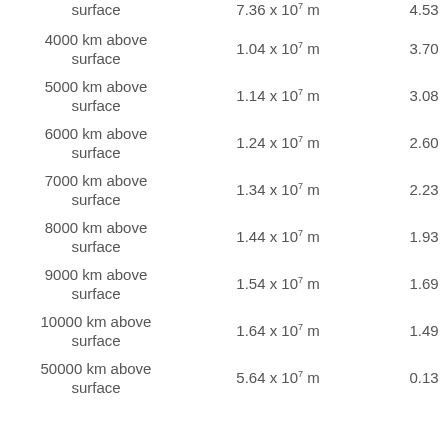| Location | Radius (m) | g (m/s²) |
| --- | --- | --- |
| surface | 7.36 x 10⁷ m | 4.53 |
| 4000 km above surface | 1.04 x 10⁷ m | 3.70 |
| 5000 km above surface | 1.14 x 10⁷ m | 3.08 |
| 6000 km above surface | 1.24 x 10⁷ m | 2.60 |
| 7000 km above surface | 1.34 x 10⁷ m | 2.23 |
| 8000 km above surface | 1.44 x 10⁷ m | 1.93 |
| 9000 km above surface | 1.54 x 10⁷ m | 1.69 |
| 10000 km above surface | 1.64 x 10⁷ m | 1.49 |
| 50000 km above surface | 5.64 x 10⁷ m | 0.13 |